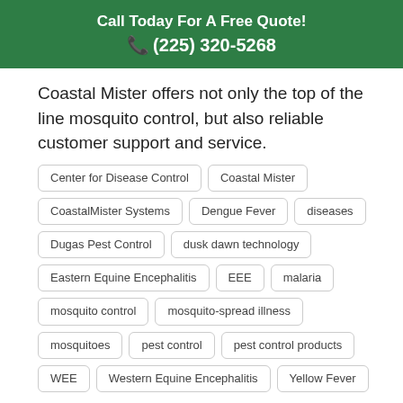Call Today For A Free Quote!
☎ (225) 320-5268
Coastal Mister offers not only the top of the line mosquito control, but also reliable customer support and service.
Center for Disease Control
Coastal Mister
CoastalMister Systems
Dengue Fever
diseases
Dugas Pest Control
dusk dawn technology
Eastern Equine Encephalitis
EEE
malaria
mosquito control
mosquito-spread illness
mosquitoes
pest control
pest control products
WEE
Western Equine Encephalitis
Yellow Fever